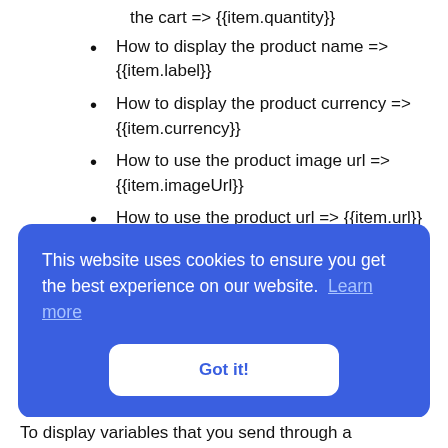the cart => {{item.quantity}}
How to display the product name => {{item.label}}
How to display the product currency => {{item.currency}}
How to use the product image url => {{item.imageUrl}}
How to use the product url => {{item.url}} {{/each}}
This website uses cookies to ensure you get the best experience on our website. Learn more
Got it!
To display variables that you send through a